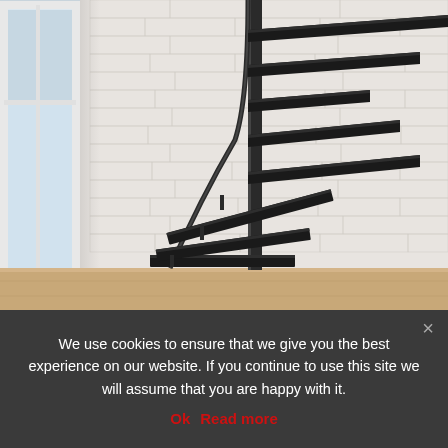[Figure (photo): A black metal spiral staircase with dark treads against a white painted brick wall interior, with light wood flooring and a window visible on the left side.]
We use cookies to ensure that we give you the best experience on our website. If you continue to use this site we will assume that you are happy with it.
Ok   Read more